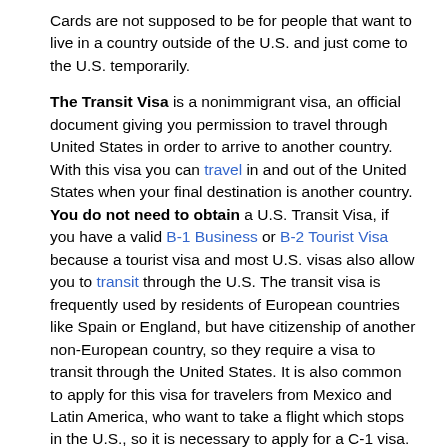Cards are not supposed to be for people that want to live in a country outside of the U.S. and just come to the U.S. temporarily.
The Transit Visa is a nonimmigrant visa, an official document giving you permission to travel through United States in order to arrive to another country. With this visa you can travel in and out of the United States when your final destination is another country. You do not need to obtain a U.S. Transit Visa, if you have a valid B-1 Business or B-2 Tourist Visa because a tourist visa and most U.S. visas also allow you to transit through the U.S. The transit visa is frequently used by residents of European countries like Spain or England, but have citizenship of another non-European country, so they require a visa to transit through the United States. It is also common to apply for this visa for travelers from Mexico and Latin America, who want to take a flight which stops in the U.S., so it is necessary to apply for a C-1 visa.
Important:
Residents from the countries that qualify for the Visa Waiver Program can transit through United States without the C-1 visa. An immigration officer at the port of entry can admit a person holding a C-1 transit visa for the duration determined by person,